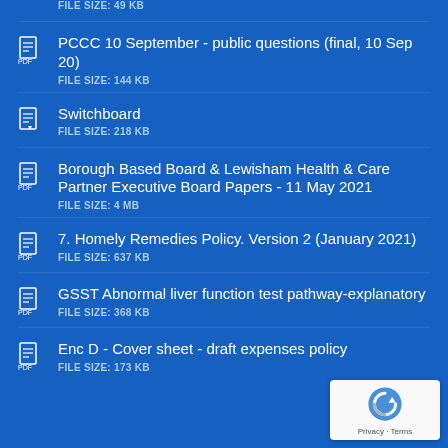FILE SIZE: 49 KB
PCCC 10 September - public questions (final, 10 Sep 20)
FILE SIZE: 144 KB
Switchboard
FILE SIZE: 218 KB
Borough Based Board & Lewisham Health & Care Partner Executive Board Papers - 11 May 2021
FILE SIZE: 4 MB
7. Homely Remedies Policy. Version 2 (January 2021)
FILE SIZE: 637 KB
GSST Abnormal liver function test pathway-explanatory
FILE SIZE: 368 KB
Enc D - Cover sheet - draft expenses policy
FILE SIZE: 173 KB